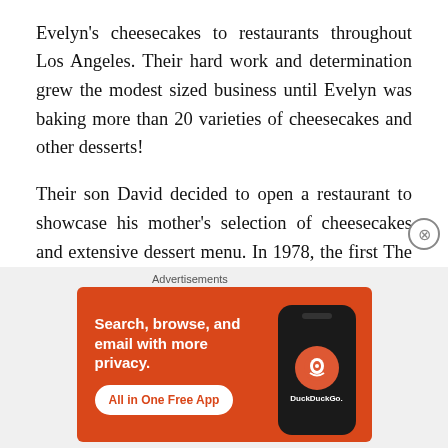Evelyn's cheesecakes to restaurants throughout Los Angeles. Their hard work and determination grew the modest sized business until Evelyn was baking more than 20 varieties of cheesecakes and other desserts!
Their son David decided to open a restaurant to showcase his mother's selection of cheesecakes and extensive dessert menu. In 1978, the first The Cheesecake Factory restaurant opened in Beverly Hills, CA and was an immediate success. Today you can find nearly 200 The Cheesecake Factory restaurants around the world!
[Figure (other): DuckDuckGo advertisement banner: orange background with text 'Search, browse, and email with more privacy.' and 'All in One Free App' button, alongside a phone mockup showing DuckDuckGo logo.]